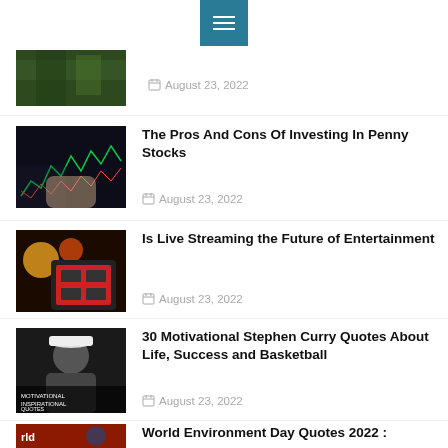[Figure (screenshot): Navigation bar with hamburger menu icon in teal/blue]
[Figure (photo): Partial thumbnail of green nature/forest image]
August 23, 2022
[Figure (photo): Thumbnail showing stock market chart with hand holding phone]
The Pros And Cons Of Investing In Penny Stocks
August 23, 2022
[Figure (photo): Thumbnail showing person holding streaming device with colorful interface]
Is Live Streaming the Future of Entertainment
August 23, 2022
[Figure (photo): Thumbnail of Stephen Curry wearing a cap with motivational quotes text overlay]
30 Motivational Stephen Curry Quotes About Life, Success and Basketball
August 23, 2022
[Figure (photo): Partial thumbnail with world/globe imagery in red/orange]
World Environment Day Quotes 2022 :